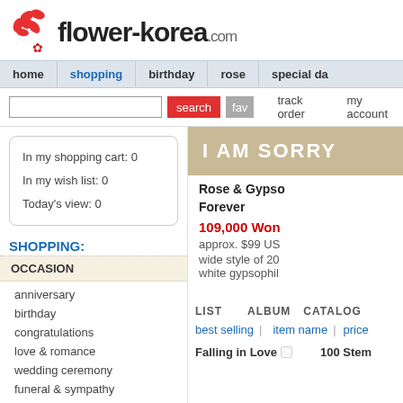[Figure (logo): flower-korea.com logo with red flower icon]
home | shopping | birthday | rose | special da...
search | fav | track order | my account
In my shopping cart: 0
In my wish list: 0
Today's view: 0
SHOPPING:
OCCASION
anniversary
birthday
congratulations
love & romance
wedding ceremony
funeral & sympathy
business & coporate gift
get well soon
I AM SORRY
Rose & Gypso... Forever
109,000 Won
approx. $99 US...
wide style of 20... white gypsophil...
LIST | ALBUM | CATALOG
best selling | item name | price
Falling in Love □    100 Stem